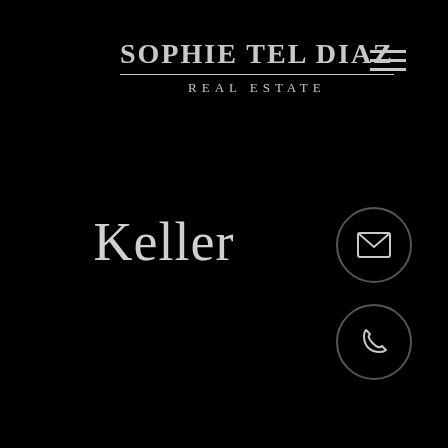Sophie Tel Diaz Real Estate
[Figure (logo): Hamburger menu icon (three horizontal lines) in top right corner]
Keller
[Figure (illustration): Email envelope icon inside a circle outline]
[Figure (illustration): Phone handset icon inside a circle outline]